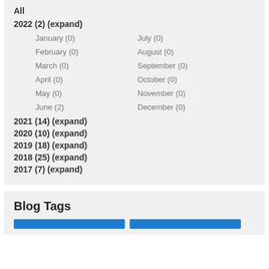All
2022 (2) (expand)
January (0)
July (0)
February (0)
August (0)
March (0)
September (0)
April (0)
October (0)
May (0)
November (0)
June (2)
December (0)
2021 (14) (expand)
2020 (10) (expand)
2019 (18) (expand)
2018 (25) (expand)
2017 (7) (expand)
Blog Tags